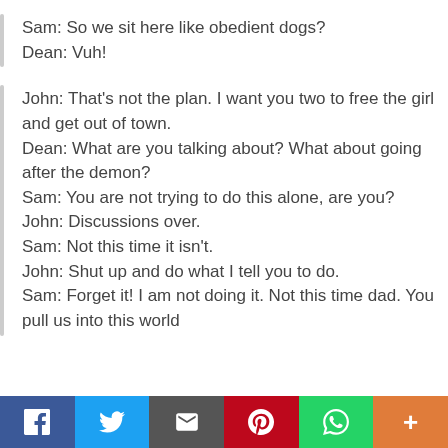Sam: So we sit here like obedient dogs?
Dean: Vuh!
John: That's not the plan. I want you two to free the girl and get out of town.
Dean: What are you talking about? What about going after the demon?
Sam: You are not trying to do this alone, are you?
John: Discussions over.
Sam: Not this time it isn't.
John: Shut up and do what I tell you to do.
Sam: Forget it! I am not doing it. Not this time dad. You pull us into this world
f  [twitter]  [email]  [pinterest]  [whatsapp]  +